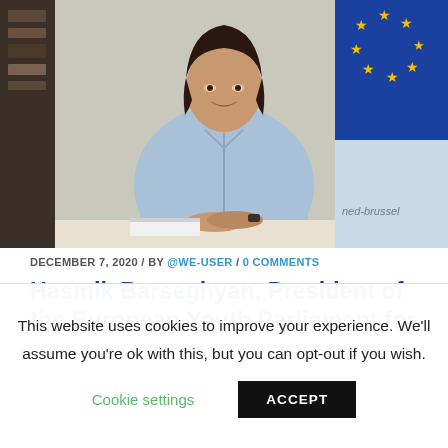[Figure (photo): Woman in light blue shirt seated at a table with EU flag in background and text 'ned-brussel' visible]
DECEMBER 7, 2020 / BY @WE-USER / 0 COMMENTS
Hasmik Barseghyan, President of the European Youth Parliament for
This website uses cookies to improve your experience. We'll assume you're ok with this, but you can opt-out if you wish.
Cookie settings  ACCEPT